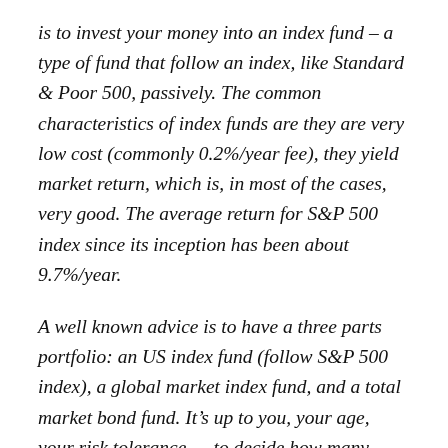is to invest your money into an index fund – a type of fund that follow an index, like Standard & Poor 500, passively. The common characteristics of index funds are they are very low cost (commonly 0.2%/year fee), they yield market return, which is, in most of the cases, very good. The average return for S&P 500 index since its inception has been about 9.7%/year.
A well known advice is to have a three parts portfolio: an US index fund (follow S&P 500 index), a global market index fund, and a total market bond fund. It's up to you, your age, your risk tolerance … to decide how many percent you want to invest in each. If you ask me, then I'd would say invest into an US index fund (most banks have this fund), and forget about it. If you are older, then you might want to put part of your money